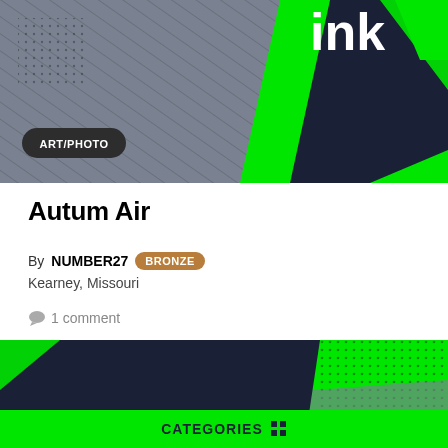[Figure (illustration): Teen Ink website screenshot top banner with green and dark diagonal design elements, ART/PHOTO tag label]
Autum Air
By NUMBER27 BRONZE
Kearney, Missouri
1 comment
[Figure (logo): Teen Ink logo on green and dark background with diagonal graphic design elements]
CATEGORIES